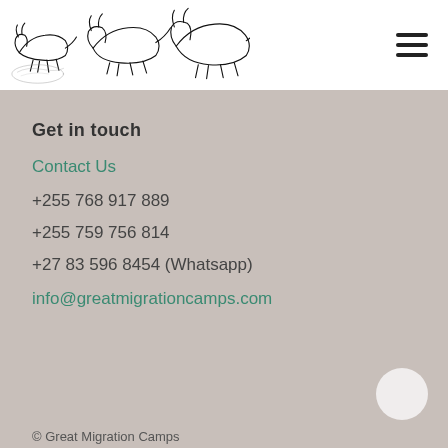[Figure (illustration): Black and white line drawing of wildebeest running, used as website logo for Great Migration Camps]
Get in touch
Contact Us
+255 768 917 889
+255 759 756 814
+27 83 596 8454 (Whatsapp)
info@greatmigrationcamps.com
© Great Migration Camps